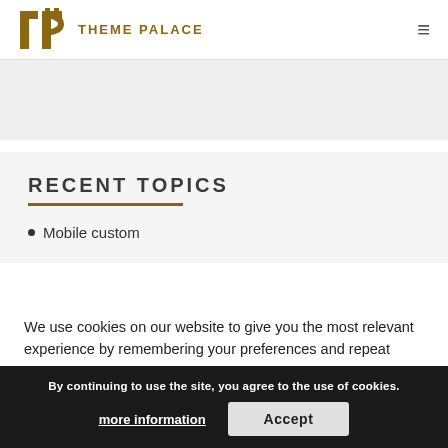THEME PALACE
RECENT TOPICS
Mobile custom
We use cookies on our website to give you the most relevant experience by remembering your preferences and repeat visits. By clicking “Accept All”, you consent to the use of ALL the cookies. However, you may visit "Cookie Settings" to provide a controlled consent.
By continuing to use the site, you agree to the use of cookies.
more information
Accept